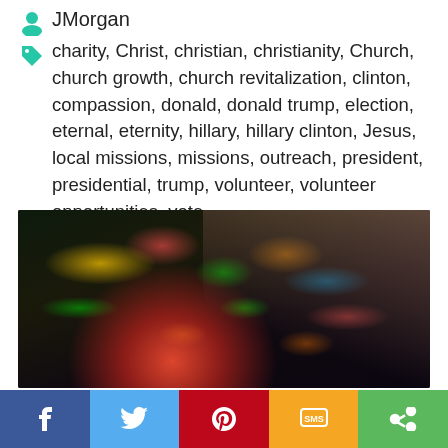JMorgan
charity, Christ, christian, christianity, Church, church growth, church revitalization, clinton, compassion, donald, donald trump, election, eternal, eternity, hillary, hillary clinton, Jesus, local missions, missions, outreach, president, presidential, trump, volunteer, volunteer opportunities, vote
2 comments
[Figure (photo): Child looking into an open glowing red gift box in front of a Christmas tree with colorful bokeh lights]
Share bar: Facebook, Twitter, Pinterest, SMS, Share